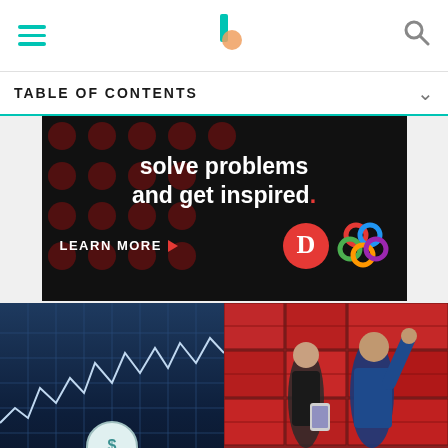[Figure (screenshot): Navigation bar with hamburger menu icon (teal), centered Investopedia logo (teal and peach), and search icon (gray) on white background]
TABLE OF CONTENTS
[Figure (illustration): Advertisement banner with black background, dark red polka dots pattern, white bold text 'solve problems and get inspired.' with red period, 'LEARN MORE' button with red arrow, Dotdash 'D' logo in red circle, and Meredith colorful knot logo]
[Figure (screenshot): Financial line chart on dark blue grid background with white/light blue jagged line, stock market data rows below, and circular dollar-sign coin icon at bottom center]
[Figure (photo): Two people (woman in business attire and man in blue coveralls) standing in front of red shipping containers, man pointing upward while woman holds a tablet]
[Figure (illustration): Bottom advertisement bar with dark background, white text 'We help people find answers, solve problems and get inspired.' with Dotdash 'D' logo in red circle, Meredith colorful knot logo, and 'Dotdash meredith' text in white]